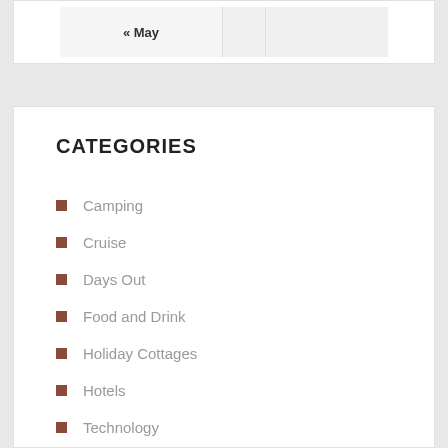| « May |  |  |
| --- | --- | --- |
|  |
CATEGORIES
Camping
Cruise
Days Out
Food and Drink
Holiday Cottages
Hotels
Technology
Travel Guides